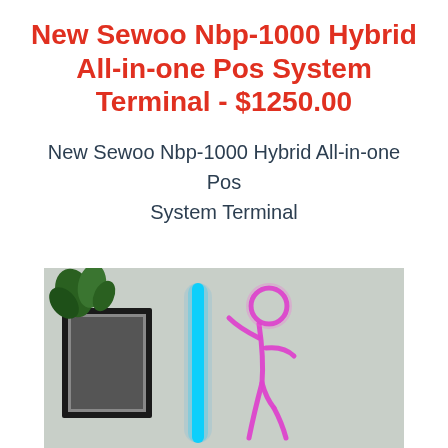New Sewoo Nbp-1000 Hybrid All-in-one Pos System Terminal - $1250.00
New Sewoo Nbp-1000 Hybrid All-in-one Pos System Terminal
[Figure (photo): A neon light art piece on a wall showing a glowing blue vertical bar and a pink/purple silhouette figure, with a framed picture and a plant visible in the background.]